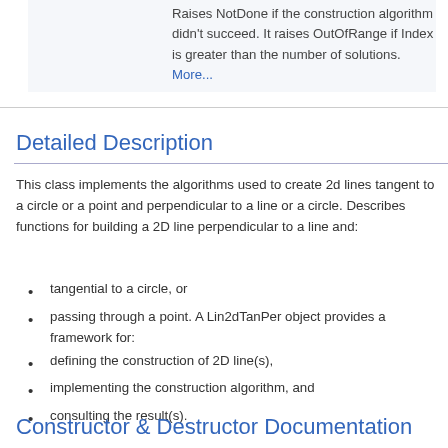Raises NotDone if the construction algorithm didn't succeed. It raises OutOfRange if Index is greater than the number of solutions. More...
Detailed Description
This class implements the algorithms used to create 2d lines tangent to a circle or a point and perpendicular to a line or a circle. Describes functions for building a 2D line perpendicular to a line and:
tangential to a circle, or
passing through a point. A Lin2dTanPer object provides a framework for:
defining the construction of 2D line(s),
implementing the construction algorithm, and
consulting the result(s).
Constructor & Destructor Documentation